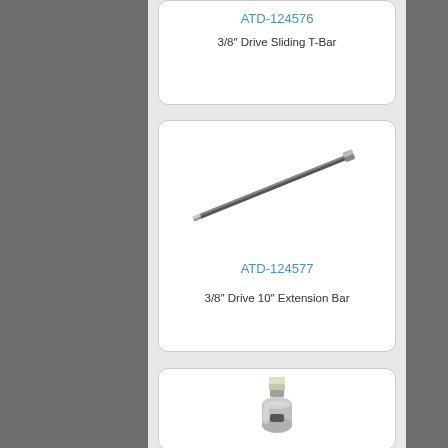ATD-124576
3/8" Drive Sliding T-Bar
[Figure (photo): Diagonal extension bar tool, chrome finish, thin rod with square drive end]
ATD-124577
3/8" Drive 10" Extension Bar
[Figure (photo): Small chrome socket adapter/reducer, compact cylindrical shape with square drive]
ATD-124578 (partial)